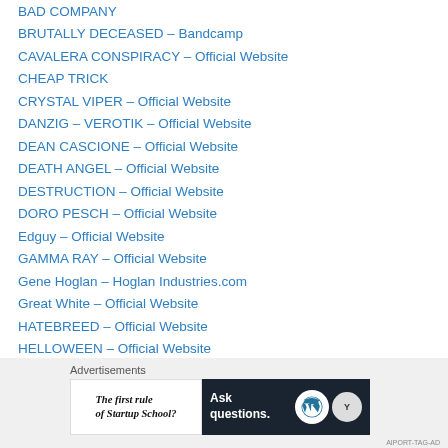BAD COMPANY
BRUTALLY DECEASED – Bandcamp
CAVALERA CONSPIRACY – Official Website
CHEAP TRICK
CRYSTAL VIPER – Official Website
DANZIG – VEROTIK – Official Website
DEAN CASCIONE – Official Website
DEATH ANGEL – Official Website
DESTRUCTION – Official Website
DORO PESCH – Official Website
Edguy – Official Website
GAMMA RAY – Official Website
Gene Hoglan – Hoglan Industries.com
Great White – Official Website
HATEBREED – Official Website
HELLOWEEN – Official Website
(partially visible item)
[Figure (screenshot): Advertisement area with 'Advertisements' label and two ad units: a white ad for 'The first rule of Startup School?' and a dark ad for 'Ask questions.' with WordPress and another logo. A close button (X) icon is on the right.]